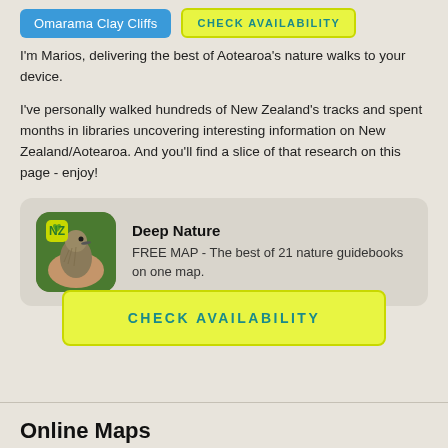Omarama Clay Cliffs
CHECK AVAILABILITY
I'm Marios, delivering the best of Aotearoa's nature walks to your device.
I've personally walked hundreds of New Zealand's tracks and spent months in libraries uncovering interesting information on New Zealand/Aotearoa. And you'll find a slice of that research on this page - enjoy!
[Figure (other): App icon showing a bird (kiwi chick) on a hand with green background and NZ heart logo badge. App name: Deep Nature. Description: FREE MAP - The best of 21 nature guidebooks on one map.]
Deep Nature
FREE MAP - The best of 21 nature guidebooks on one map.
CHECK AVAILABILITY
Online Maps